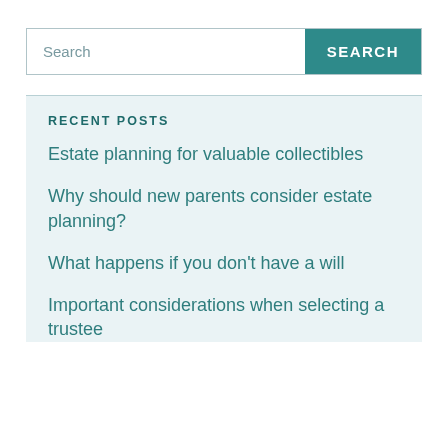[Figure (screenshot): Search bar with text input placeholder 'Search' and a teal 'SEARCH' button on the right]
RECENT POSTS
Estate planning for valuable collectibles
Why should new parents consider estate planning?
What happens if you don't have a will
Important considerations when selecting a trustee